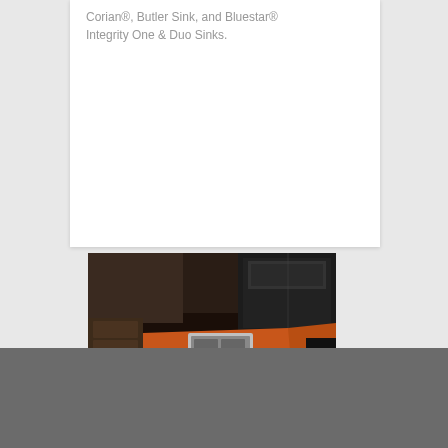…Corian®, Butler Sink, and Bluestar® Integrity One & Duo Sinks.
[Figure (photo): Kitchen granite countertop in reddish-orange color with dark veining, showing an L-shaped island with a stovetop/cooktop insert and dark cabinetry in the background.]